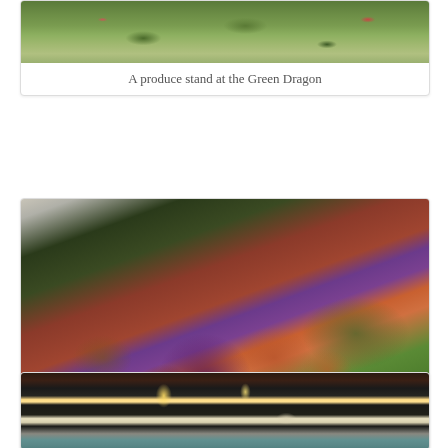[Figure (photo): A produce stand at the Green Dragon market, showing vegetables including what appears to be corn and other produce with price signs]
A produce stand at the Green Dragon
[Figure (photo): Beets, broccoli and potatoes displayed at Lancaster's Central Market, with a handwritten price sign visible among the vegetables]
Beets, broccoli and potatoes at Lancaster’s Central Market
[Figure (photo): Interior of a market building showing a dark wooden ceiling with bright overhead lights, partially visible at bottom of page]